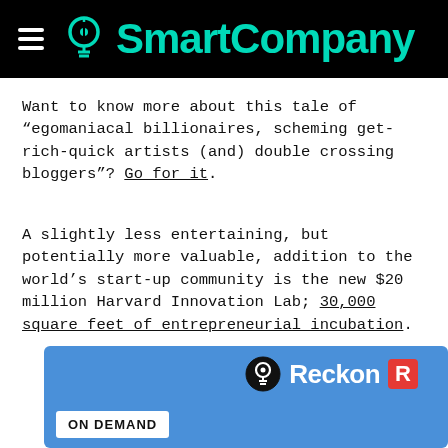SmartCompany
Want to know more about this tale of “egomaniacal billionaires, scheming get-rich-quick artists (and) double crossing bloggers”? Go for it.
A slightly less entertaining, but potentially more valuable, addition to the world’s start-up community is the new $20 million Harvard Innovation Lab; 30,000 square feet of entrepreneurial incubation.
[Figure (logo): Reckon ON DEMAND advertisement banner with blue background, lightbulb icon, Reckon logo with red R, and ON DEMAND tag]